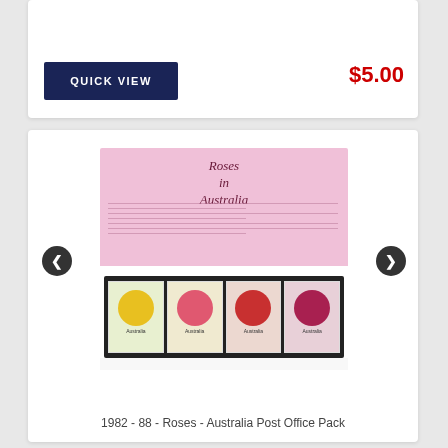QUICK VIEW
$5.00
[Figure (photo): Australia Post Office Pack for 1982-88 Roses stamps, showing a pink booklet cover with cursive 'Roses in Australia' text and four rose stamps in a black frame below]
1982 - 88 - Roses - Australia Post Office Pack